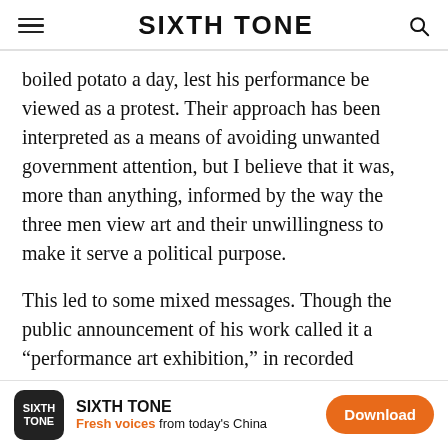SIXTH TONE
boiled potato a day, lest his performance be viewed as a protest. Their approach has been interpreted as a means of avoiding unwanted government attention, but I believe that it was, more than anything, informed by the way the three men view art and their unwillingness to make it serve a political purpose.
This led to some mixed messages. Though the public announcement of his work called it a “performance art exhibition,” in recorded conversations between Pang, Fang, and Zhu, Pang shied away from the “performance art” label. But if this self-directed, self-enacted quarantine wasn’t performance art, then what was it? Pang’s answer is simple: a “...
[Figure (other): Sixth Tone app advertisement bar with logo, tagline 'Fresh voices from today's China', and Download button]